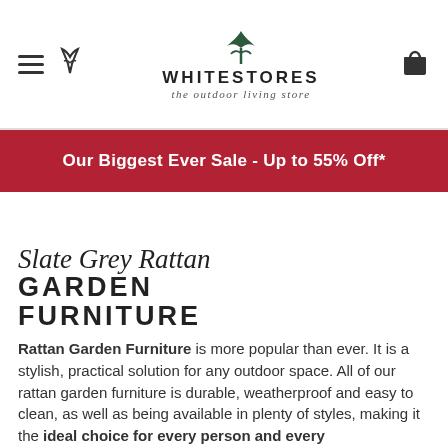WHITESTORES the outdoor living store
Our Biggest Ever Sale - Up to 55% Off*
Slate Grey Rattan GARDEN FURNITURE
Rattan Garden Furniture is more popular than ever. It is a stylish, practical solution for any outdoor space. All of our rattan garden furniture is durable, weatherproof and easy to clean, as well as being available in plenty of styles, making it the ideal choice for every person and every